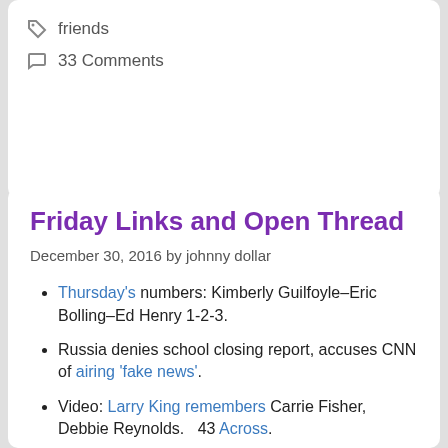friends
33 Comments
Friday Links and Open Thread
December 30, 2016 by johnny dollar
Thursday's numbers: Kimberly Guilfoyle–Eric Bolling–Ed Henry 1-2-3.
Russia denies school closing report, accuses CNN of airing 'fake news'.
Video: Larry King remembers Carrie Fisher, Debbie Reynolds.   43 Across.
Zakaria interviews POTUS and top staffers in Voices from the Obama Years.